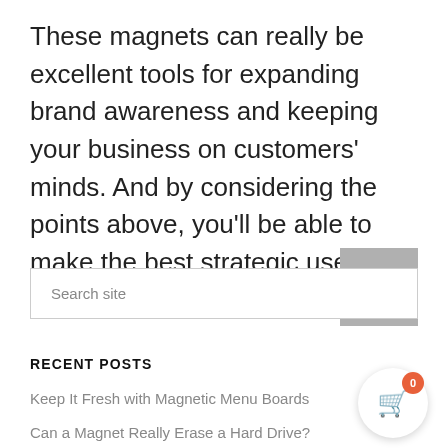These magnets can really be excellent tools for expanding brand awareness and keeping your business on customers' minds. And by considering the points above, you'll be able to make the best strategic use of them.
RECENT POSTS
Keep It Fresh with Magnetic Menu Boards
Can a Magnet Really Erase a Hard Drive?